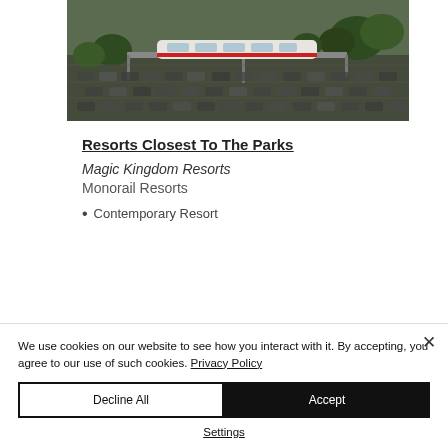[Figure (photo): Aerial/elevated photo of a Disney monorail train on an elevated track above a large parking lot filled with cars, with trees and resort buildings visible in the background.]
Resorts Closest To The Parks
Magic Kingdom Resorts
Monorail Resorts
Contemporary Resort
We use cookies on our website to see how you interact with it. By accepting, you agree to our use of such cookies. Privacy Policy